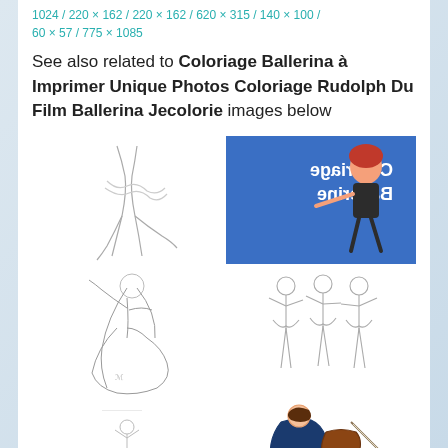1024 / 220 × 162 / 220 × 162 / 620 × 315 / 140 × 100 / 60 × 57 / 775 × 1085
See also related to Coloriage Ballerina à Imprimer Unique Photos Coloriage Rudolph Du Film Ballerina Jecolorie images below
[Figure (illustration): Line drawing of a ballet dancer's lower body showing legs in motion]
[Figure (illustration): Colored cartoon illustration of a red-haired ballerina girl with 'Coloriage Ballerine' text mirrored/flipped on blue background]
[Figure (illustration): Line drawing of a ballerina in flowing dress with long hair]
[Figure (illustration): Line drawing of three ballerinas standing together in tutus]
[Figure (illustration): Small line drawing of a ballerina on a pedestal/music box]
[Figure (illustration): Partial colored illustration of a violin player]